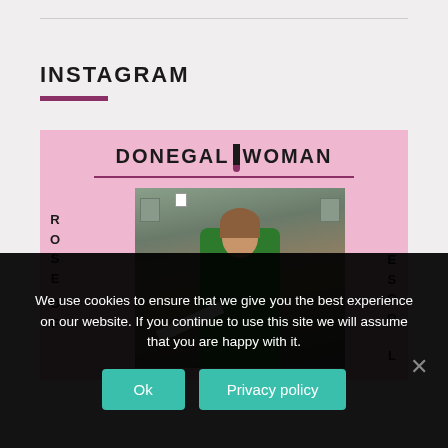INSTAGRAM
[Figure (photo): Donegal Woman Instagram post showing a woman in a green blazer wearing a pageant sash, standing in front of a stone building. The image has a pink background with 'DONEGAL WOMAN' logo at top and 'ROSE OF' text on either side.]
We use cookies to ensure that we give you the best experience on our website. If you continue to use this site we will assume that you are happy with it.